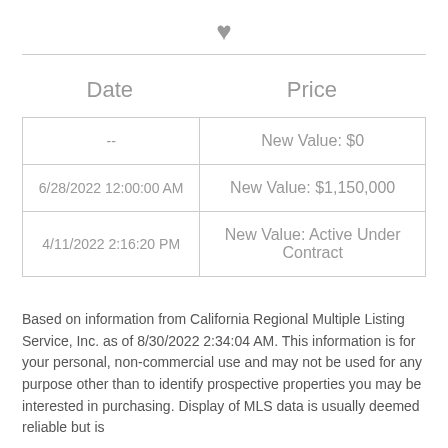[Figure (illustration): Heart icon (favorite/save symbol) centered at top of page]
| Date | Price |
| --- | --- |
| -- | New Value: $0 |
| 6/28/2022 12:00:00 AM | New Value: $1,150,000 |
| 4/11/2022 2:16:20 PM | New Value: Active Under Contract |
Based on information from California Regional Multiple Listing Service, Inc. as of 8/30/2022 2:34:04 AM. This information is for your personal, non-commercial use and may not be used for any purpose other than to identify prospective properties you may be interested in purchasing. Display of MLS data is usually deemed reliable but is